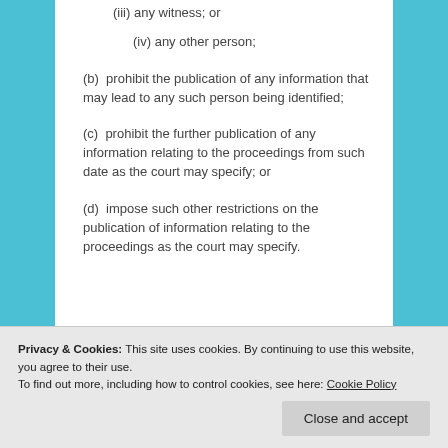(iii) any witness; or
(iv) any other person;
(b)  prohibit the publication of any information that may lead to any such person being identified;
(c)  prohibit the further publication of any information relating to the proceedings from such date as the court may specify; or
(d)  impose such other restrictions on the publication of information relating to the proceedings as the court may specify.
Privacy & Cookies: This site uses cookies. By continuing to use this website, you agree to their use.
To find out more, including how to control cookies, see here: Cookie Policy
Close and accept